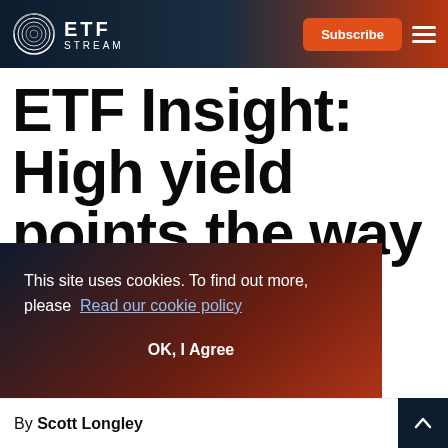ETF STREAM
ETF Insight: High yield points the way to fixed
This site uses cookies. To find out more, please Read our cookie policy
OK, I Agree
By Scott Longley